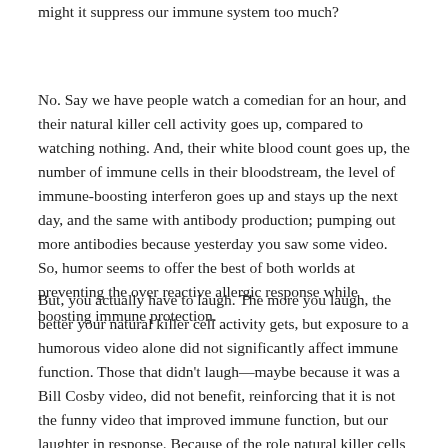might it suppress our immune system too much?
No. Say we have people watch a comedian for an hour, and their natural killer cell activity goes up, compared to watching nothing. And, their white blood count goes up, the number of immune cells in their bloodstream, the level of immune-boosting interferon goes up and stays up the next day, and the same with antibody production; pumping out more antibodies because yesterday you saw some video. So, humor seems to offer the best of both worlds at preventing the over reactive allergic response while boosting immune protection.
But, you actually have to laugh. The more you laugh, the better your natural killer cell activity gets, but exposure to a humorous video alone did not significantly affect immune function. Those that didn't laugh—maybe because it was a Bill Cosby video, did not benefit, reinforcing that it is not the funny video that improved immune function, but our laughter in response. Because of the role natural killer cells play in viral illness and various types of cancer, the ability to significantly increase their activity in a brief period of time using a noninvasive method could